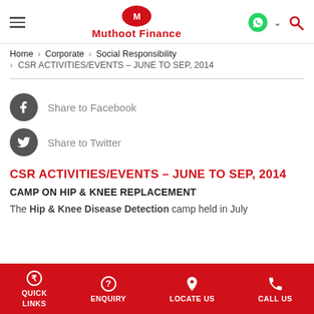[Figure (logo): Muthoot Finance logo with red oval M and text]
Home > Corporate > Social Responsibility
> CSR ACTIVITIES/EVENTS – JUNE TO SEP, 2014
Share to Facebook
Share to Twitter
CSR ACTIVITIES/EVENTS – JUNE TO SEP, 2014
CAMP ON HIP & KNEE REPLACEMENT
The Hip & Knee Disease Detection camp held in July
QUICK LINKS | ENQUIRY | LOCATE US | CALL US